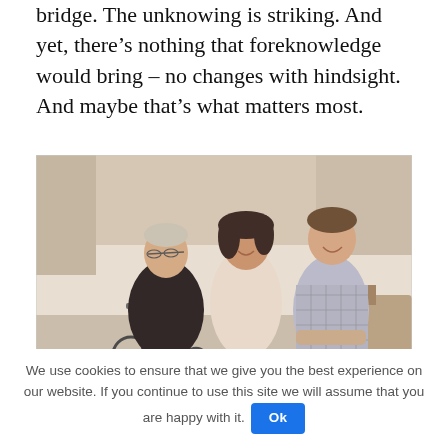bridge. The unknowing is striking. And yet, there's nothing that foreknowledge would bring – no changes with hindsight. And maybe that's what matters most.
[Figure (photo): Three women posing together indoors — an elderly woman seated in a wheelchair wearing a dark jacket, a middle-aged woman with curly dark hair standing behind wearing a light top, and a younger girl in a checked/patterned dress standing to the right. They appear to be in a bright, warmly decorated room.]
We use cookies to ensure that we give you the best experience on our website. If you continue to use this site we will assume that you are happy with it. Ok